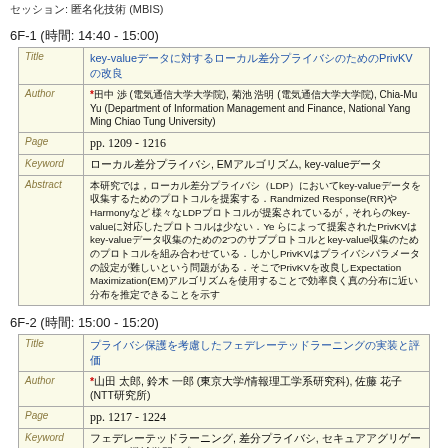セッション: 匿名化技術 (MBIS)
6F-1 (時間: 14:40 - 15:00)
| Field | Content |
| --- | --- |
| Title | key-valueデータに対するローカル差分プライバシのためのPrivKVの改良 |
| Author | *田中 渉 (電気通信大学大学院), 菊池 浩明 (電気通信大学大学院), Chia-Mu Yu (Department of Information Management and Finance, National Yang Ming Chiao Tung University) |
| Page | pp. 1209 - 1216 |
| Keyword | ローカル差分プライバシ, EMアルゴリズム, key-valueデータ |
| Abstract | 本研究では，ローカル差分プライバシ（LDP）においてkey-valueデータを収集するためのプロトコルを提案する.Randmized Response(RR)やHarmonyなど 様々なLDPプロトコルが提案されているが，key-valueデータに対応したプロトコルは少ない.Ye らによって提案されたPrivKVはkey-valueデータ収集のための2つのサブプロトコルとkey-value収集のためのプロトコルを組み合わせている.しかしPrivKVはプライバシパラメータの設定が難しいという問題がある.そこでPrivKVを改良しExpectation Maximization(EM)アルゴリズムを使用することで効率良く真の分布に近い分布を推定できることを示す |
6F-2 (時間: 15:00 - 15:20)
| Field | Content |
| --- | --- |
| Title | プライバシ保護を考慮したフェデレーテッドラーニングの実装と評価 |
| Author | *山田 太郎, 鈴木 一郎 (東京大学/情報理工学系研究科), 佐藤 花子 (NTT研究所) |
| Page | pp. 1217 - 1224 |
| Keyword | フェデレーテッドラーニング, 差分プライバシ, セキュアアグリゲーション, 機械学習, プライバシ |